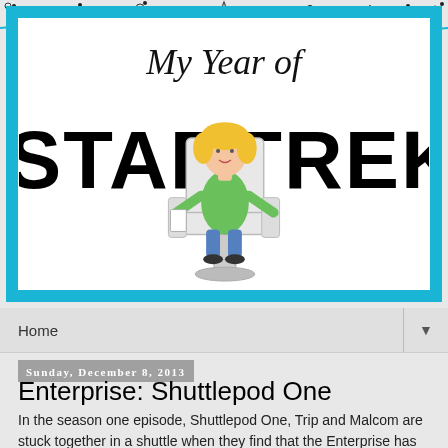[Figure (illustration): Blog header banner with decorative stars and doodles on dark background strip at top, followed by 'My Year of STAR TREK' logo with illustrated woman sitting in captain's chair on white background with cyan border]
Home
Sunday, December 8, 2013
Enterprise: Shuttlepod One
In the season one episode, Shuttlepod One, Trip and Malcom are stuck together in a shuttle when they find that the Enterprise has been destroyed and they have very little chance of survival. Obviously, the Enterprise hasn't been destroyed. What Trip and Malcolm saw was actually the